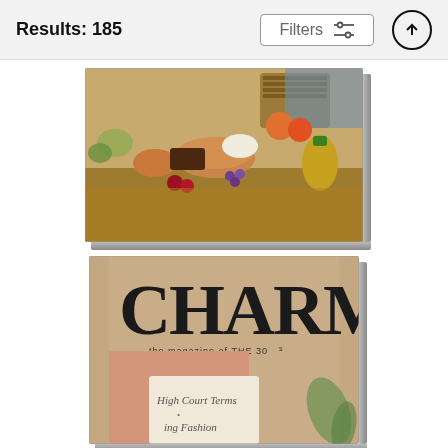Results: 185
Filters
[Figure (photo): Photograph of a picnic display on a beach, showing bread, fruits, baskets and various foods on a wooden surface, presented as a canvas print with a 3D edge effect.]
Picnic Display On The Beach
Stan Young
$105
[Figure (photo): Magazine cover of CHARM magazine showing a woman's hand holding papers, with text 'the magazine of THE 30s' and cursive text below, presented as a canvas print.]